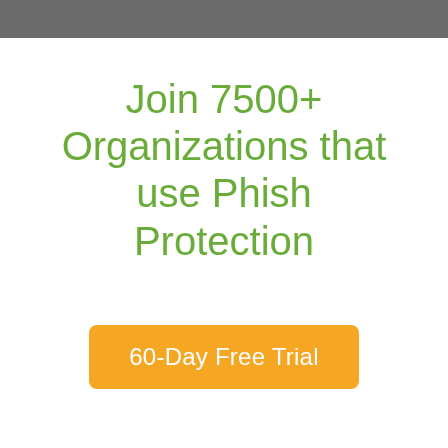[Figure (photo): Dark grey background banner at the top of the page]
Join 7500+ Organizations that use Phish Protection
60-Day Free Trial